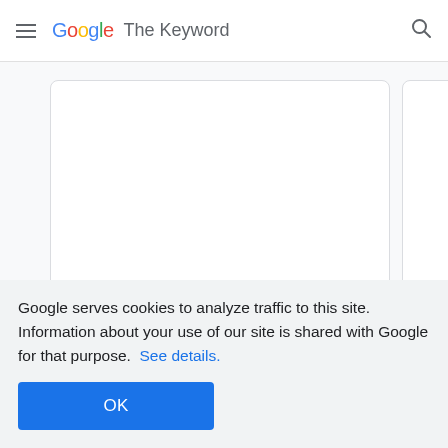Google The Keyword
Aug 25, 2022
Aug 18
[Figure (other): Carousel navigation dots, 6 dots with first active]
Google serves cookies to analyze traffic to this site. Information about your use of our site is shared with Google for that purpose. See details.
OK